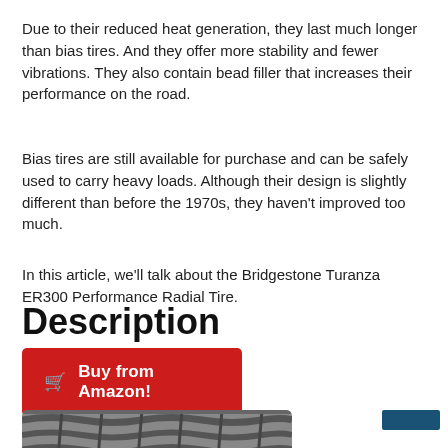Due to their reduced heat generation, they last much longer than bias tires. And they offer more stability and fewer vibrations. They also contain bead filler that increases their performance on the road.
Bias tires are still available for purchase and can be safely used to carry heavy loads. Although their design is slightly different than before the 1970s, they haven’t improved too much.
In this article, we’ll talk about the Bridgestone Turanza ER300 Performance Radial Tire.
Description
[Figure (other): Red 'Buy from Amazon!' button with shopping cart icon]
[Figure (photo): Close-up photo of a tire tread, partially visible at the bottom of the page]